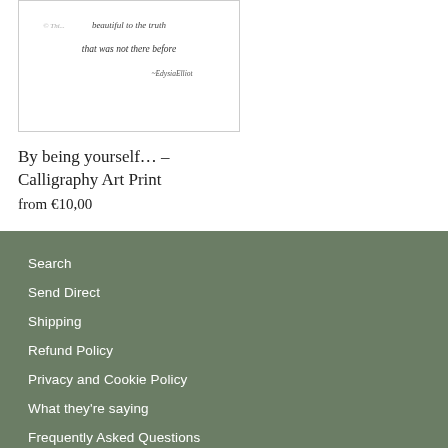[Figure (illustration): Calligraphy art print image showing handwritten text quote with copyright watermark and attribution to Edysia Elliot]
By being yourself… – Calligraphy Art Print
from €10,00
Search
Send Direct
Shipping
Refund Policy
Privacy and Cookie Policy
What they're saying
Frequently Asked Questions